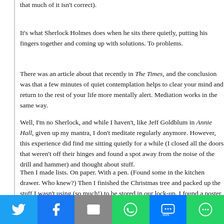that much of it isn't correct).
It's what Sherlock Holmes does when he sits there quietly, putting his fingers together and coming up with solutions. To problems.
There was an article about that recently in The Times, and the conclusion was that a few minutes of quiet contemplation helps to clear your mind and return to the rest of your life more mentally alert. Mediation works in the same way.
Well, I'm no Sherlock, and while I haven't, like Jeff Goldblum in Annie Hall, given up my mantra, I don't meditate regularly anymore. However, this experience did find me sitting quietly for a while (I closed all the doors that weren't off their hinges and found a spot away from the noise of the drill and hammer) and thought about stuff.
Then I made lists. On paper. With a pen. (Found some in the kitchen drawer. Who knew?) Then I finished the Christmas tree and packed up the stuff I wasn't using (so much!) to be stored in our lock-up. I found a poster that might be just the thing for my new vanity. I made a sandwich for lunch and read the newspaper. Qua
And I thought about how lucky I was to have a new desk, a vanity table, a family to celebrate with, all that corny but true stuff you already know but are online and sending emails to remind yourself of.
[Figure (infographic): Social media sharing bar with icons for Twitter, Facebook, Email, WhatsApp, SMS, and More]